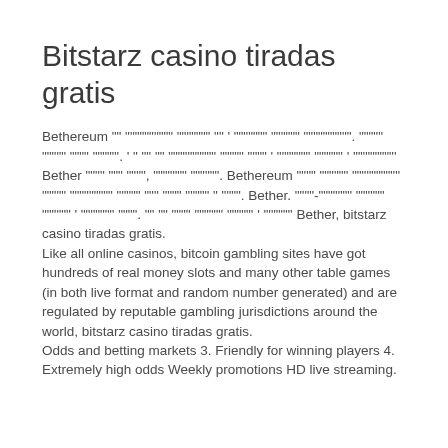Bitstarz casino tiradas gratis
Bethereum "" """""""""" """""" "" ' """"""" """""" """"""""""". """"" """"" """" """""'. ' " "" "" """""""""" """"" """" ' """"""" """""" ' """"""""' Bether """" """ """"", """"""" """""". Bethereum """" """""" """""""""" """"" """"""""" """"" """ """" """"" " """". Bether. """"-""""""" """""" """""" ' """"""" """". "" "" """" """""" """"""' ' '"""""' Bether, bitstarz casino tiradas gratis.
Like all online casinos, bitcoin gambling sites have got hundreds of real money slots and many other table games (in both live format and random number generated) and are regulated by reputable gambling jurisdictions around the world, bitstarz casino tiradas gratis.
Odds and betting markets 3. Friendly for winning players 4. Extremely high odds Weekly promotions HD live streaming.